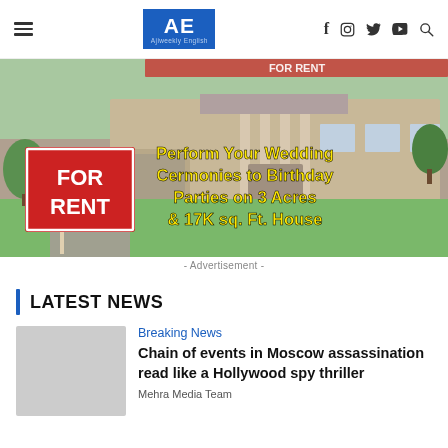AE Ajiweekly English — social icons: f, instagram, twitter, youtube, search
[Figure (photo): Advertisement banner for rental property: a large house with 'FOR RENT' sign. Text overlay reads 'Perform Your Wedding Cermonies to Birthday Parties on 3 Acres & 17K sq. Ft. House']
- Advertisement -
LATEST NEWS
Breaking News
Chain of events in Moscow assassination read like a Hollywood spy thriller
Mehra Media Team